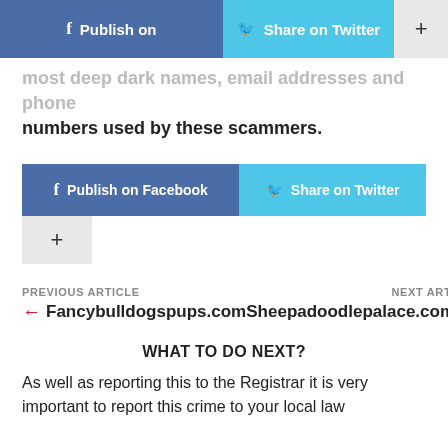[Figure (screenshot): Social share buttons bar at top: Facebook Publish on, Twitter Share on Twitter, and plus button]
most deep dark names, email addresses and phone numbers used by these scammers.
[Figure (screenshot): Social share buttons: Publish on Facebook, Share on Twitter, and plus button]
PREVIOUS ARTICLE
← Fancybulldogspups.com    NEXT ARTICLE
Sheepadoodlepalace.com →
WHAT TO DO NEXT?
As well as reporting this to the Registrar it is very important to report this crime to your local law…